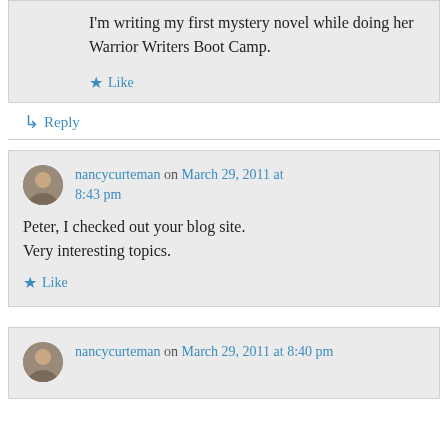I'm writing my first mystery novel while doing her Warrior Writers Boot Camp.
Like
Reply
nancycurteman on March 29, 2011 at 8:43 pm
Peter, I checked out your blog site. Very interesting topics.
Like
nancycurteman on March 29, 2011 at 8:40 pm